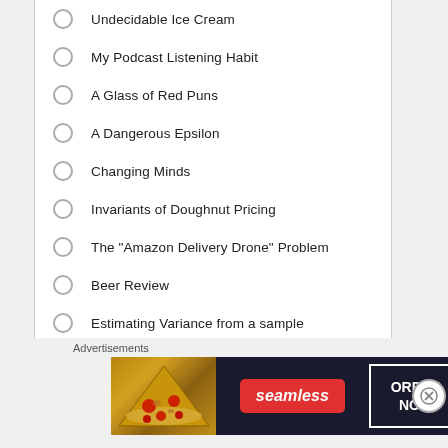Undecidable Ice Cream
My Podcast Listening Habit
A Glass of Red Puns
A Dangerous Epsilon
Changing Minds
Invariants of Doughnut Pricing
The "Amazon Delivery Drone" Problem
Beer Review
Estimating Variance from a sample
Advertisements
[Figure (other): Seamless food delivery advertisement banner with pizza image, seamless logo in red, and ORDER NOW button]